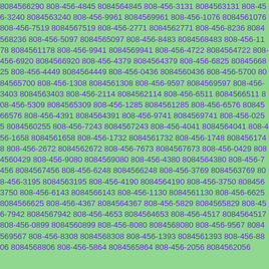8084566290 808-456-4845 8084564845 808-456-3131 8084563131 808-456-3240 8084563240 808-456-9961 8084569961 808-456-1076 8084561076 808-456-7519 8084567519 808-456-2771 8084562771 808-456-8236 8084568236 808-456-5097 8084565097 808-456-8483 8084568483 808-456-1178 8084561178 808-456-9941 8084569941 808-456-4722 8084564722 808-456-6920 8084566920 808-456-4379 8084564379 808-456-6825 8084566825 808-456-4449 8084564449 808-456-0436 8084560436 808-456-5700 8084565700 808-456-1308 8084561308 808-456-9597 8084569597 808-456-3403 8084563403 808-456-2114 8084562114 808-456-6511 8084566511 808-456-5309 8084565309 808-456-1285 8084561285 808-456-6576 8084566576 808-456-4391 8084564391 808-456-9741 8084569741 808-456-0255 8084560255 808-456-7243 8084567243 808-456-4041 8084564041 808-456-1658 8084561658 808-456-1732 8084561732 808-456-1748 8084561748 808-456-2672 8084562672 808-456-7673 8084567673 808-456-0429 8084560429 808-456-9080 8084569080 808-456-4380 8084564380 808-456-7456 8084567456 808-456-6248 8084566248 808-456-3769 8084563769 808-456-3195 8084563195 808-456-4190 8084564190 808-456-3750 8084563750 808-456-6143 8084566143 808-456-1130 8084561130 808-456-6625 8084566625 808-456-4367 8084564367 808-456-5829 8084565829 808-456-7942 8084567942 808-456-4653 8084564653 808-456-4517 8084564517 808-456-0899 8084560899 808-456-8080 8084568080 808-456-9567 8084569567 808-456-8308 8084568308 808-456-1393 8084561393 808-456-8806 8084568806 808-456-5864 8084565864 808-456-2056 8084562056